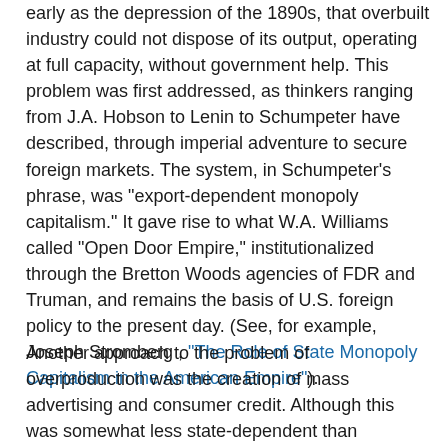early as the depression of the 1890s, that overbuilt industry could not dispose of its output, operating at full capacity, without government help. This problem was first addressed, as thinkers ranging from J.A. Hobson to Lenin to Schumpeter have described, through imperial adventure to secure foreign markets. The system, in Schumpeter's phrase, was "export-dependent monopoly capitalism." It gave rise to what W.A. Williams called "Open Door Empire," institutionalized through the Bretton Woods agencies of FDR and Truman, and remains the basis of U.S. foreign policy to the present day. (See, for example, Joseph Stromberg , "The Role of State Monopoly Capitalism in the American Empire").
Another approach to the problem of overproduction was the creation of mass advertising and consumer credit. Although this was somewhat less state-dependent than imperialism, it had a large state component. For one thing, the founders of the mass advertising and public relations industries were, in large part, also the founders of the science of "manufacturing consent" used to manipulate Anglo-American populations into support of St. Woodrow's crusade. For